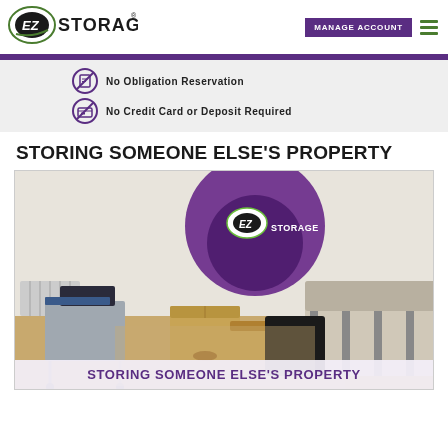[Figure (logo): EZ Storage logo with oval green/black icon and bold text STORAGE with registered trademark]
MANAGE ACCOUNT
No Obligation Reservation
No Credit Card or Deposit Required
STORING SOMEONE ELSE'S PROPERTY
[Figure (photo): Room with cardboard moving boxes, a striped sofa/futon, a small metal table with items, wooden floor. Large purple circle with EZ Storage logo overlay in center-top area.]
STORING SOMEONE ELSE'S PROPERTY